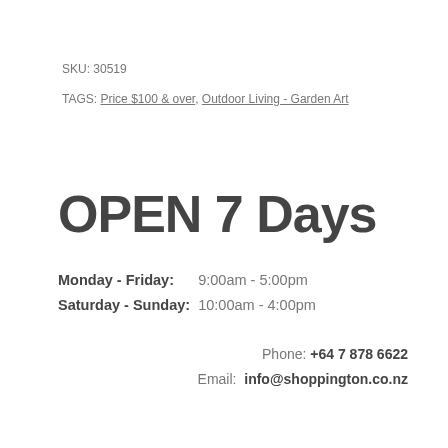SKU: 30519
TAGS: Price $100 & over, Outdoor Living - Garden Art
OPEN 7 Days
Monday - Friday:   9:00am - 5:00pm
Saturday - Sunday: 10:00am - 4:00pm
Phone: +64 7 878 6622
Email: info@shoppington.co.nz